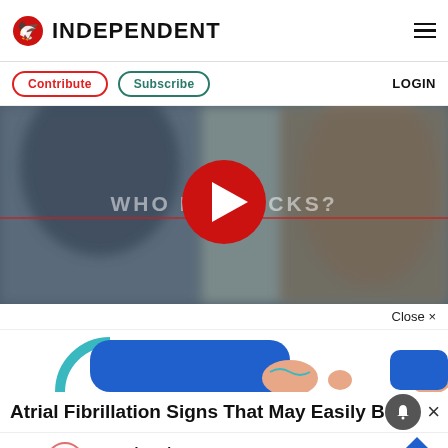INDEPENDENT
Contribute  Subscribe  LOGIN
[Figure (screenshot): Video thumbnail with blurred background showing text 'WHO IS H__HICKS?' with a red play button overlay circle in the center]
Close ×
[Figure (illustration): Illustration of person in blue clothing with teal circle element]
Atrial Fibrillation Signs That May Easily B ×
Batteries Plus  Batteries Plus Bulbs